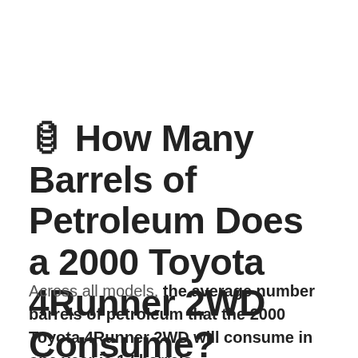🛢 How Many Barrels of Petroleum Does a 2000 Toyota 4Runner 2WD Consume?
Across all models, the average number barrels of petroleum that the 2000 Toyota 4Runner 2WD will consume in one year is 17 barrels.